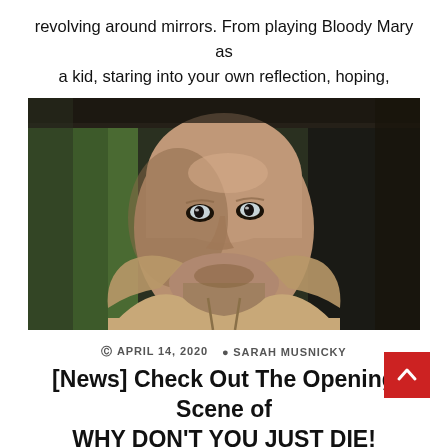revolving around mirrors. From playing Bloody Mary as a kid, staring into your own reflection, hoping,
[Figure (photo): Close-up cinematic photo of a bald man with pale blue eyes, wearing a beige hoodie, staring intensely at the camera. Dark, moody lighting with green and dark background.]
APRIL 14, 2020 SARAH MUSNICKY
[News] Check Out The Opening Scene of WHY DON'T YOU JUST DIE!